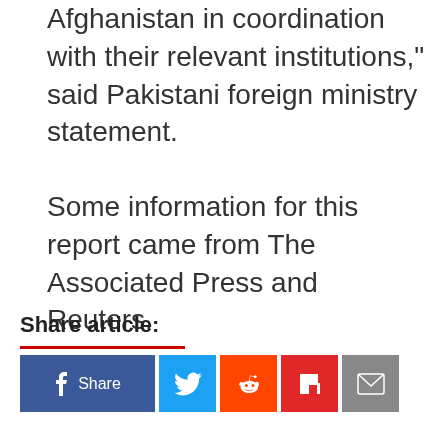Afghanistan in coordination with their relevant institutions," said Pakistani foreign ministry statement.
Some information for this report came from The Associated Press and Reuters.
Share article:
[Figure (other): Social share buttons: Facebook Share, Twitter, Reddit, Flipboard, Email]